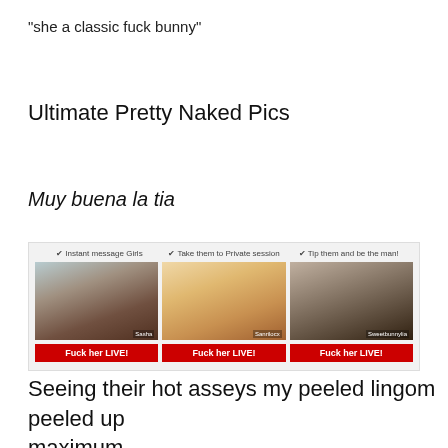"she a classic fuck bunny"
Ultimate Pretty Naked Pics
Muy buena la tia
[Figure (screenshot): Advertisement banner with three thumbnail images labeled '@Instant message Girls', '@Take them to Private session', '@Tip them and be the man!' each with a 'Fuck her LIVE!' red button below.]
Seeing their hot asseys my peeled lingom peeled up maximum